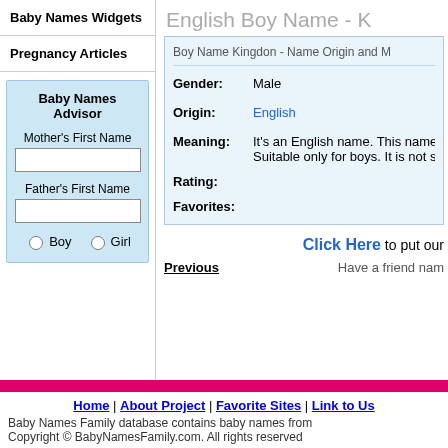Baby Names Widgets
Pregnancy Articles
Baby Names Advisor
Mother's First Name
Father's First Name
Boy  Girl
English Boy Name - K
Boy Name Kingdon - Name Origin and M
Gender: Male
Origin: English
Meaning: It's an English name. This name m... Suitable only for boys. It is not so...
Rating:
Favorites:
Click Here to put our
Previous   Have a friend nam
Home | About Project | Favorite Sites | Link to Us
Baby Names Family database contains baby names from
Copyright © BabyNamesFamily.com. All rights reserved